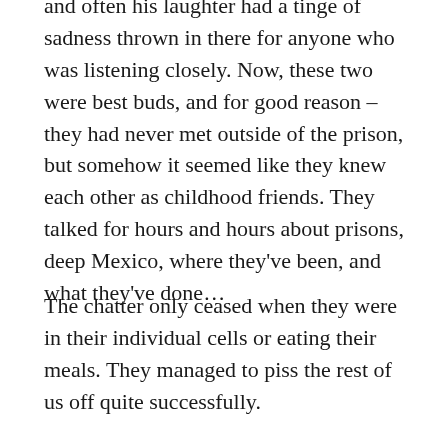and often his laughter had a tinge of sadness thrown in there for anyone who was listening closely. Now, these two were best buds, and for good reason – they had never met outside of the prison, but somehow it seemed like they knew each other as childhood friends. They talked for hours and hours about prisons, deep Mexico, where they've been, and what they've done…
The chatter only ceased when they were in their individual cells or eating their meals. They managed to piss the rest of us off quite successfully.